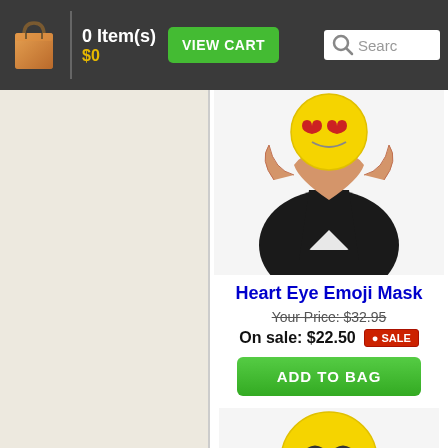0 Item(s) $0 VIEW CART Search
[Figure (photo): Person in black leather jacket making a heart shape with their hands, wearing a yellow emoji mask (heart eyes)]
Heart Eye Emoji Mask
Your Price: $32.95
On sale: $22.50 SALE
ADD TO BAG
[Figure (photo): Person in red hoodie giving two thumbs up, wearing a large yellow laughing/crying emoji mask head]
Tears of Joy Emoji Mask